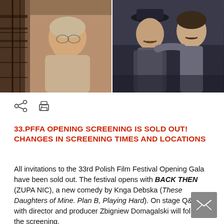[Figure (photo): Two side-by-side film stills: left shows an elderly woman with glasses covering her mouth with her hand; right shows two men in period costume, one with a mustache and hat, the other leaning on the first.]
[Figure (illustration): Share icon (less-than with dots) and print icon]
33.PFFA OPENING SCREENING IS SOLD OUT! CHANGES IN SCREENING TIMES AND LOCATIONS
All invitations to the 33rd Polish Film Festival Opening Gala have been sold out. The festival opens with BACK THEN (ZUPA NIC), a new comedy by Knga Debska (These Daughters of Mine. Plan B, Playing Hard). On stage Q&A with director and producer Zbigniew Domagalski will follow the screening.

The VIP Opening Gala will take place in AMC Village Crossing 18 (7000 N. Carpenter Ave. & Central Ave., Skokie)